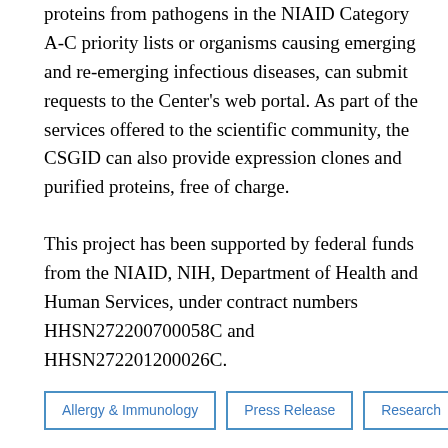proteins from pathogens in the NIAID Category A-C priority lists or organisms causing emerging and re-emerging infectious diseases, can submit requests to the Center's web portal. As part of the services offered to the scientific community, the CSGID can also provide expression clones and purified proteins, free of charge.
This project has been supported by federal funds from the NIAID, NIH, Department of Health and Human Services, under contract numbers HHSN272200700058C and HHSN272201200026C.
Allergy & Immunology
Press Release
Research